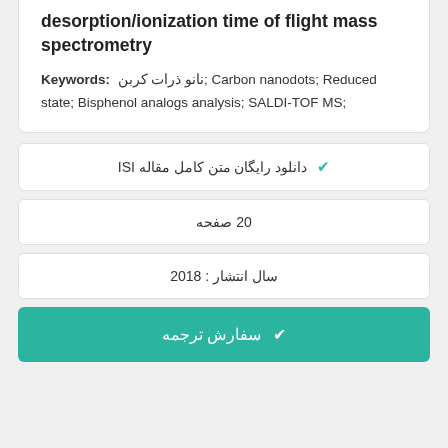desorption/ionization time of flight mass spectrometry
Keywords: نانو ذرات کربن; Carbon nanodots; Reduced state; Bisphenol analogs analysis; SALDI-TOF MS;
✔ دانلود رایگان متن کامل مقاله ISI
20 صفحه
سال انتشار : 2018
✔ سفارش ترجمه